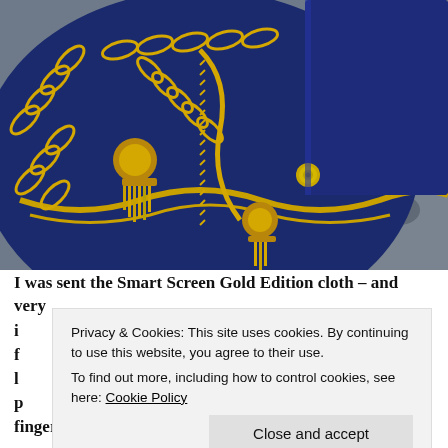[Figure (photo): Close-up photograph of a navy blue silk scarf or cloth with gold chain and tassel print pattern, alongside a navy blue suede item with a gold button snap closure, placed on a granite surface.]
I was sent the Smart Screen Gold Edition cloth – and very ... f ... l ... p ... fingerprints over them: it is a microfibre cloth – but what
Privacy & Cookies: This site uses cookies. By continuing to use this website, you agree to their use.
To find out more, including how to control cookies, see here: Cookie Policy
Close and accept